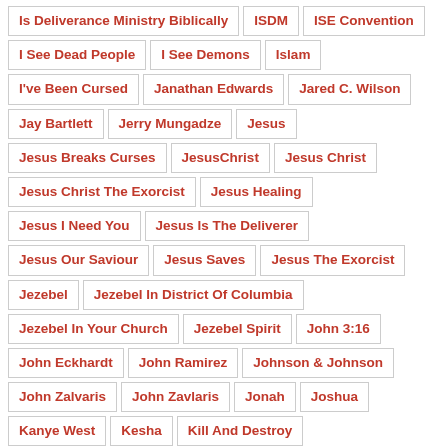Is Deliverance Ministry Biblically
ISDM
ISE Convention
I See Dead People
I See Demons
Islam
I've Been Cursed
Janathan Edwards
Jared C. Wilson
Jay Bartlett
Jerry Mungadze
Jesus
Jesus Breaks Curses
JesusChrist
Jesus Christ
Jesus Christ The Exorcist
Jesus Healing
Jesus I Need You
Jesus Is The Deliverer
Jesus Our Saviour
Jesus Saves
Jesus The Exorcist
Jezebel
Jezebel In District Of Columbia
Jezebel In Your Church
Jezebel Spirit
John 3:16
John Eckhardt
John Ramirez
Johnson & Johnson
John Zalvaris
John Zavlaris
Jonah
Joshua
Kanye West
Kesha
Kill And Destroy
King James Bible
Kundalini
Las Vegas Shooting
Legal Rights
Leviathan
Leviathan Spirit